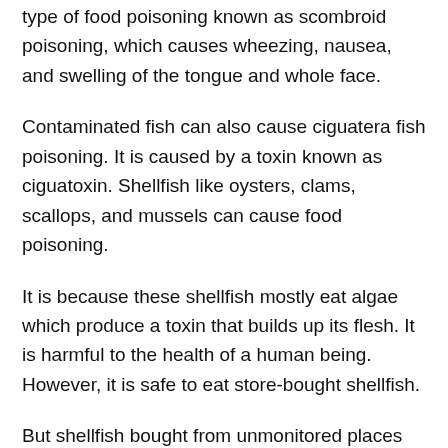type of food poisoning known as scombroid poisoning, which causes wheezing, nausea, and swelling of the tongue and whole face.
Contaminated fish can also cause ciguatera fish poisoning. It is caused by a toxin known as ciguatoxin. Shellfish like oysters, clams, scallops, and mussels can cause food poisoning.
It is because these shellfish mostly eat algae which produce a toxin that builds up its flesh. It is harmful to the health of a human being. However, it is safe to eat store-bought shellfish.
But shellfish bought from unmonitored places can be unhealthy since it comes from stormwater drains, septic tanks, and sewage, making it more prone to